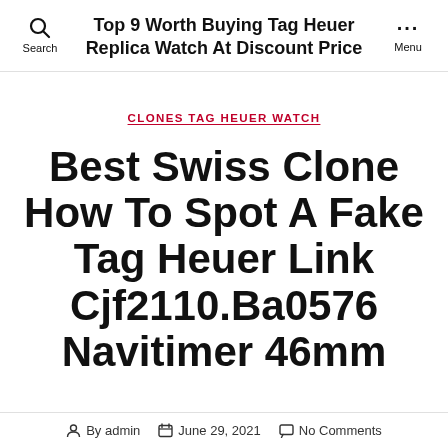Top 9 Worth Buying Tag Heuer Replica Watch At Discount Price
CLONES TAG HEUER WATCH
Best Swiss Clone How To Spot A Fake Tag Heuer Link Cjf2110.Ba0576 Navitimer 46mm
By admin  June 29, 2021  No Comments